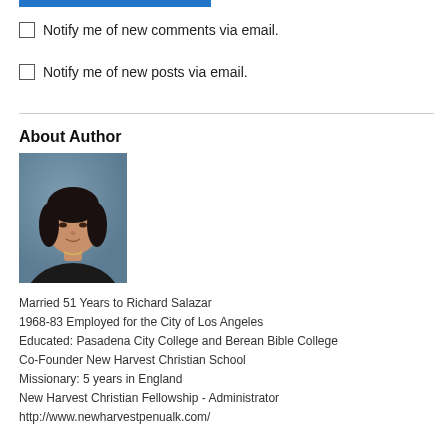[Figure (other): Blue decorative bar at top of page]
Notify me of new comments via email.
Notify me of new posts via email.
About Author
[Figure (photo): Portrait photo of a woman with short dark hair wearing a dark blazer, against a blue-gray background]
Married 51 Years to Richard Salazar
1968-83 Employed for the City of Los Angeles
Educated: Pasadena City College and Berean Bible College
Co-Founder New Harvest Christian School
Missionary: 5 years in England
New Harvest Christian Fellowship - Administrator
http://www.newharvestpenualk.com/